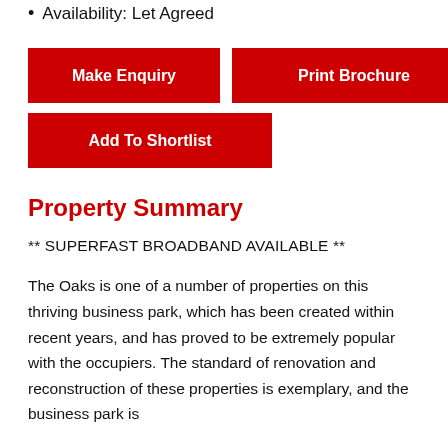Availability: Let Agreed
Make Enquiry
Print Brochure
Add To Shortlist
Property Summary
** SUPERFAST BROADBAND AVAILABLE **
The Oaks is one of a number of properties on this thriving business park, which has been created within recent years, and has proved to be extremely popular with the occupiers. The standard of renovation and reconstruction of these properties is exemplary, and the business park is